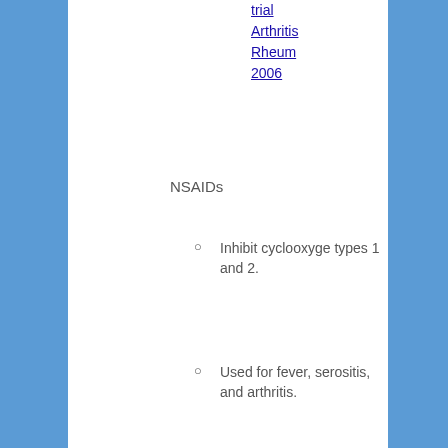trial Arthritis Rheum 2006
NSAIDs
Inhibit cyclooxygenase types 1 and 2.
Used for fever, serositis, and arthritis.
HCQ
MOA: Lancet 2013
Immunomodulatory properties with immunosuppressive
Increases lysosomal pH and